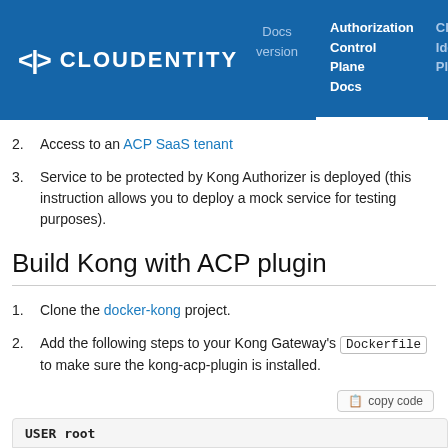CLOUDENTITY | Docs version | Authorization Control Plane Docs | Cloud Identity Plan…
2. Access to an ACP SaaS tenant
3. Service to be protected by Kong Authorizer is deployed (this instruction allows you to deploy a mock service for testing purposes).
Build Kong with ACP plugin
1. Clone the docker-kong project.
2. Add the following steps to your Kong Gateway's Dockerfile to make sure the kong-acp-plugin is installed.
copy code
USER root